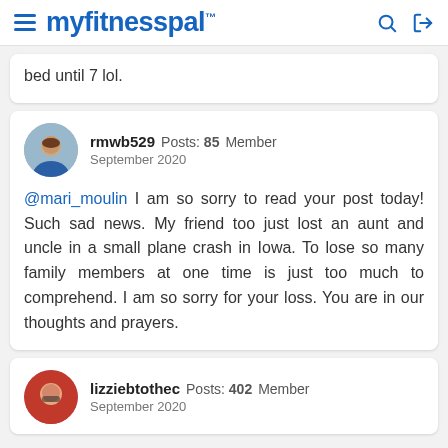myfitnesspal
bed until 7 lol.
rmwb529  Posts: 85  Member  September 2020  @mari_moulin I am so sorry to read your post today! Such sad news. My friend too just lost an aunt and uncle in a small plane crash in Iowa. To lose so many family members at one time is just too much to comprehend. I am so sorry for your loss. You are in our thoughts and prayers.
lizziebtothec  Posts: 402  Member  September 2020